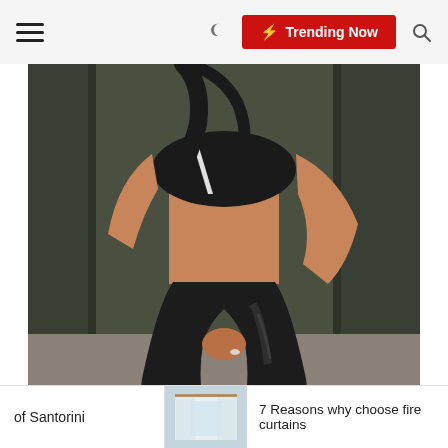≡  🌙  ⚡ Trending Now  🔍
[Figure (photo): Woman in black athletic wear (sports bra and shiny leggings) posing against a dark wall, shot from torso down]
of Santorini
[Figure (photo): Interior thumbnail image showing a modern room with large windows]
7 Reasons why choose fire curtains